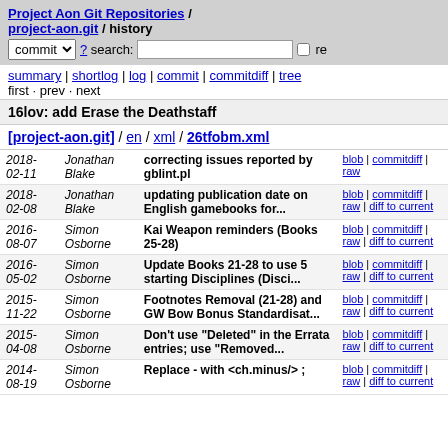Project Aon Git Repositories / project-aon.git / history
summary | shortlog | log | commit | commitdiff | tree
first · prev · next
16lov: add Erase the Deathstaff
[project-aon.git] / en / xml / 26tfobm.xml
| Date | Author | Message | Links |
| --- | --- | --- | --- |
| 2018-02-11 | Jonathan Blake | correcting issues reported by gblint.pl | blob | commitdiff | raw |
| 2018-02-08 | Jonathan Blake | updating publication date on English gamebooks for... | blob | commitdiff | raw | diff to current |
| 2016-08-07 | Simon Osborne | Kai Weapon reminders (Books 25-28) | blob | commitdiff | raw | diff to current |
| 2016-05-02 | Simon Osborne | Update Books 21-28 to use 5 starting Disciplines (Disci... | blob | commitdiff | raw | diff to current |
| 2015-11-22 | Simon Osborne | Footnotes Removal (21-28) and GW Bow Bonus Standardisat... | blob | commitdiff | raw | diff to current |
| 2015-04-08 | Simon Osborne | Don't use "Deleted" in the Errata entries; use "Removed... | blob | commitdiff | raw | diff to current |
| 2014-08-19 | Simon Osborne | Replace - with <ch.minus/> ; | blob | commitdiff | raw | diff to current |